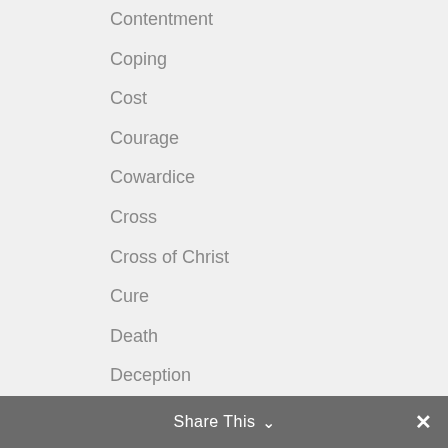Contentment
Coping
Cost
Courage
Cowardice
Cross
Cross of Christ
Cure
Death
Deception
defeat
Deliverance
Demons
depression
Desperation
Share This ∨  ✕